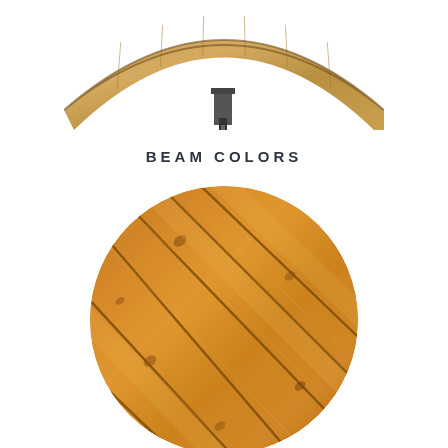[Figure (photo): Close-up photo of curved wooden beam/ceiling panel with metal bracket hardware, light natural wood color, viewed from below against white background]
BEAM COLORS
[Figure (photo): Circular cropped close-up photo of wooden ceiling planks/boards showing warm golden-brown stained wood grain with diagonal plank lines and natural knots]